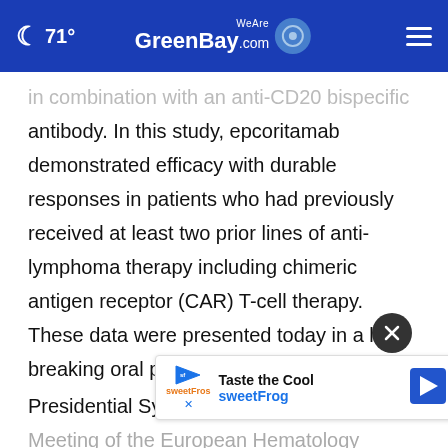WeAreGreenBay.com — 71°
in combination with an anti-CD20 bispecific antibody. In this study, epcoritamab demonstrated efficacy with durable responses in patients who had previously received at least two prior lines of anti-lymphoma therapy including chimeric antigen receptor (CAR) T-cell therapy. These data were presented today in a late-breaking oral presentation as a part of the Presidential Symposium at the 27th Annual Meeting of the European Hematology Association (Abstract #LBR2264)
[Figure (screenshot): SweetFrog advertisement banner: 'Taste the Cool sweetFrog' with navigation arrow icon]